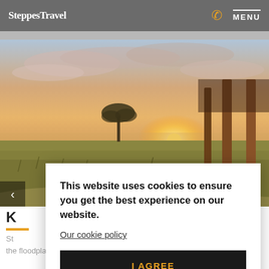SteppesTravel  [phone icon]  MENU
[Figure (photo): Savannah landscape at sunset viewed from a wooden lodge veranda with timber posts, golden grasslands and lone tree silhouetted against a pastel sky]
K...
St...
the floodplains.
This website uses cookies to ensure you get the best experience on our website.
Our cookie policy
I AGREE